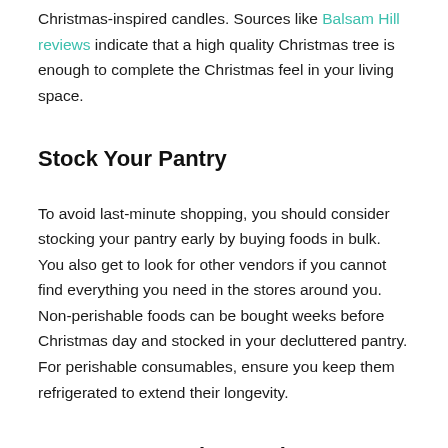Christmas-inspired candles. Sources like Balsam Hill reviews indicate that a high quality Christmas tree is enough to complete the Christmas feel in your living space.
Stock Your Pantry
To avoid last-minute shopping, you should consider stocking your pantry early by buying foods in bulk. You also get to look for other vendors if you cannot find everything you need in the stores around you. Non-perishable foods can be bought weeks before Christmas day and stocked in your decluttered pantry. For perishable consumables, ensure you keep them refrigerated to extend their longevity.
Create a Wrapping Station